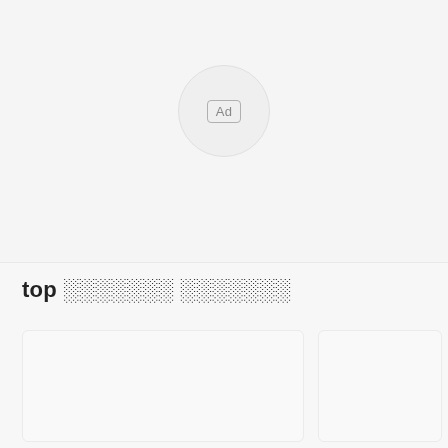[Figure (other): Advertisement placeholder area with a circular 'Ad' badge in the center on a light grey background]
top ░░░░░░░ ░░░░░░░
[Figure (other): Two content card placeholders in a row at the bottom of the page]